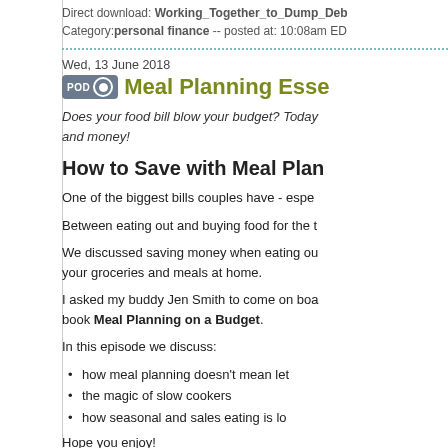Direct download: Working_Together_to_Dump_Deb
Category: personal finance -- posted at: 10:08am ED
Wed, 13 June 2018
Meal Planning Esse
Does your food bill blow your budget? Today and money!
How to Save with Meal Plan
One of the biggest bills couples have - espe
Between eating out and buying food for the t
We discussed saving money when eating ou your groceries and meals at home.
I asked my buddy Jen Smith to come on boa book Meal Planning on a Budget.
In this episode we discuss:
how meal planning doesn't mean let
the magic of slow cookers
how seasonal and sales eating is lo
Hope you enjoy!
Resources to Save Money While Ea
Want to cut your spending on food without s
Grocery Price Books: Slash Your
Easy and Smart Ways to Eat Well
Kill your $1,000 Grocery Bill